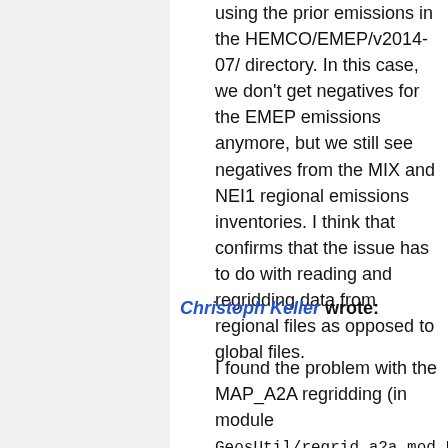using the prior emissions in the HEMCO/EMEP/v2014-07/ directory. In this case, we don't get negatives for the EMEP emissions anymore, but we still see negatives from the MIX and NEI1 regional emissions inventories. I think that confirms that the issue has to do with reading and regridding data from regional files as opposed to global files.
Christoph Keller wrote:
I found the problem with the MAP_A2A regridding (in module GeosUtil/regrid_a2a_mod.F90)